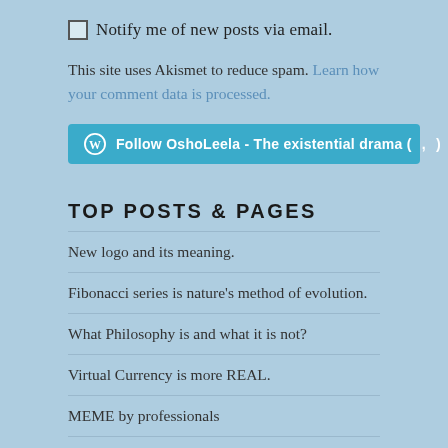Notify me of new posts via email.
This site uses Akismet to reduce spam. Learn how your comment data is processed.
[Figure (other): Teal Follow button with WordPress logo: Follow OshoLeela - The existential drama ( , )]
TOP POSTS & PAGES
New logo and its meaning.
Fibonacci series is nature's method of evolution.
What Philosophy is and what it is not?
Virtual Currency is more REAL.
MEME by professionals
Conditioning, Philosophy and REALITY explained by a photo.